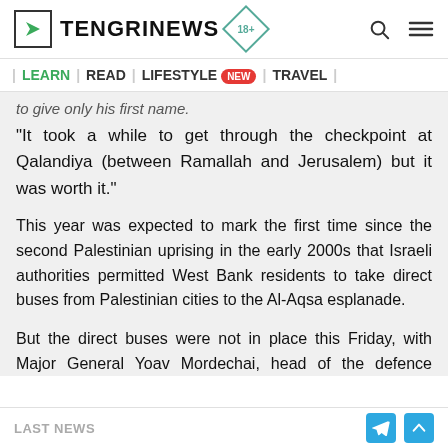TENGRINEWS | LEARN | READ | LIFESTYLE NEW | TRAVEL
to give only his first name.
"It took a while to get through the checkpoint at Qalandiya (between Ramallah and Jerusalem) but it was worth it."
This year was expected to mark the first time since the second Palestinian uprising in the early 2000s that Israeli authorities permitted West Bank residents to take direct buses from Palestinian cities to the Al-Aqsa esplanade.
But the direct buses were not in place this Friday, with Major General Yoav Mordechai, head of the defence ministry unit which manages civilian affairs in the West
LAST NEWS